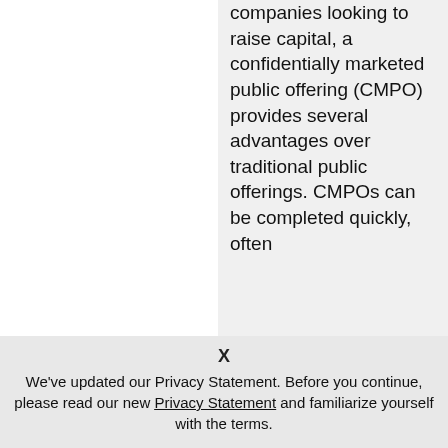companies looking to raise capital, a confidentially marketed public offering (CMPO) provides several advantages over traditional public offerings. CMPOs can be completed quickly, often
X
We've updated our Privacy Statement. Before you continue, please read our new Privacy Statement and familiarize yourself with the terms.